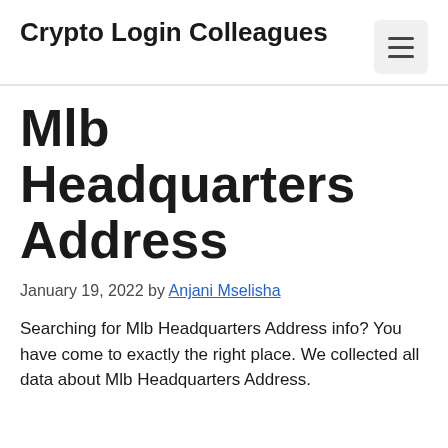Crypto Login Colleagues
Mlb Headquarters Address
January 19, 2022 by Anjani Mselisha
Searching for Mlb Headquarters Address info? You have come to exactly the right place. We collected all data about Mlb Headquarters Address.